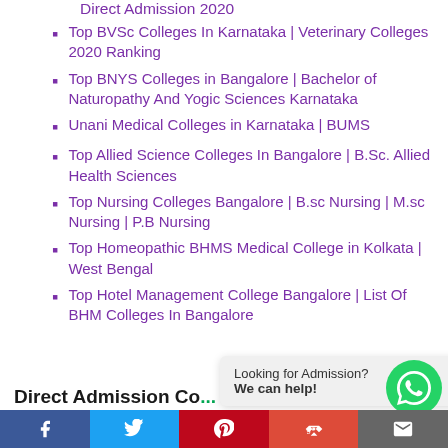Direct Admission 2020
Top BVSc Colleges In Karnataka | Veterinary Colleges 2020 Ranking
Top BNYS Colleges in Bangalore | Bachelor of Naturopathy And Yogic Sciences Karnataka
Unani Medical Colleges in Karnataka | BUMS
Top Allied Science Colleges In Bangalore | B.Sc. Allied Health Sciences
Top Nursing Colleges Bangalore | B.sc Nursing | M.sc Nursing | P.B Nursing
Top Homeopathic BHMS Medical College in Kolkata | West Bengal
Top Hotel Management College Bangalore | List Of BHM Colleges In Bangalore
Direct Admission Co...
Looking for Admission? We can help!